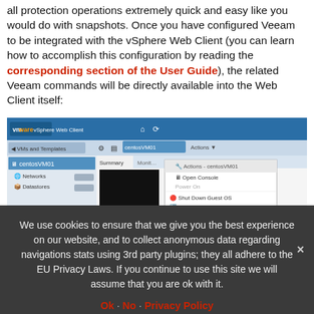all protection operations extremely quick and easy like you would do with snapshots. Once you have configured Veeam to be integrated with the vSphere Web Client (you can learn how to accomplish this configuration by reading the corresponding section of the User Guide), the related Veeam commands will be directly available into the Web Client itself:
[Figure (screenshot): VMware vSphere Web Client screenshot showing a right-click context menu with Veeam options including Actions, Open Console, Power On, Shut Down Guest OS, Restart Guest OS, Migrate, Take Snapshot, Revert to Latest Snapshot, Manage Snapshots, Clone to Virtual Machine, Clone to Template, Edit Settings, Move To, Rename, Assign Tag. Also shows VM Hardware and VM Storage Policies panels.]
We use cookies to ensure that we give you the best experience on our website, and to collect anonymous data regarding navigations stats using 3rd party plugins; they all adhere to the EU Privacy Laws. If you continue to use this site we will assume that you are ok with it.
Ok  No  Privacy Policy